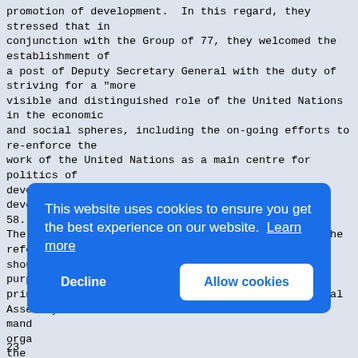promotion of development. In this regard, they stressed that in conjunction with the Group of 77, they welcomed the establishment of a post of Deputy Secretary General with the duty of striving for a "more visible and distinguished role of the United Nations in the economic and social spheres, including the on-going efforts to re-enforce the work of the United Nations as a main centre for politics of development, as well as for assistance for development."
58.
The Heads of State or Government reiterated that the reform process should preserve the centrality and sanctity of the purposes and principles of the United Nations Charter and General Assembly mand orga the they the elab deci all stat refo
[Figure (screenshot): Cookie consent overlay banner with blue background. Text reads: 'This website uses cookies to ensure you get the best experience on our website. Learn more'. Two buttons: 'Decline' (white text) and 'Allow cookies' (blue text on white background).]
23